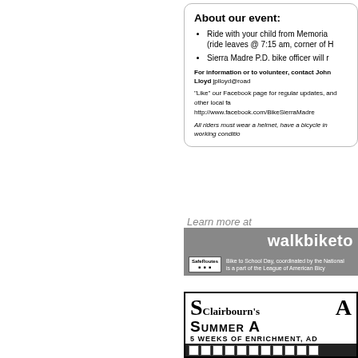About our event:
Ride with your child from Memoria (ride leaves @ 7:15 am, corner of H
Sierra Madre P.D. bike officer will r
For information or to volunteer, contact John Lloyd jplloyd@road
"Like" our Facebook page for regular updates, and other local fa
http://www.facebook.com/BikeSierraMadre
All riders must wear a helmet, have a bicycle in working conditio
Learn more at
walkbiketo
Bike to School Day, coordinated by the National is a part of the League of American Bicy
[Figure (logo): Clairbourn's Summer Academy advertisement with large bold lettering. 5 WEEKS OF ENRICHMENT, AD]